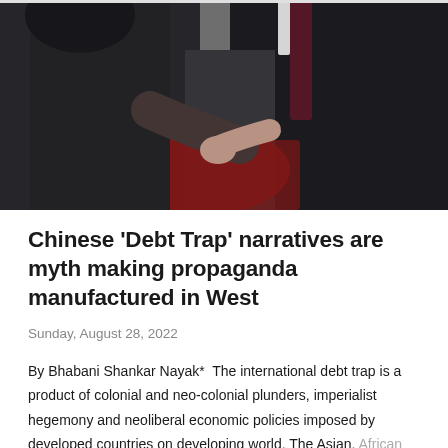[Figure (photo): Two men in dark suits shaking hands, partially cropped. One man faces away from camera on the left, the other faces toward the camera on the right wearing a dark suit with a dark red/maroon tie. A blurred red background element is visible between them.]
Chinese 'Debt Trap' narratives are myth making propaganda manufactured in West
Sunday, August 28, 2022
By Bhabani Shankar Nayak*  The international debt trap is a product of colonial and neo-colonial plunders, imperialist hegemony and neoliberal economic policies imposed by developed countries on developing world. The Asian, African ...